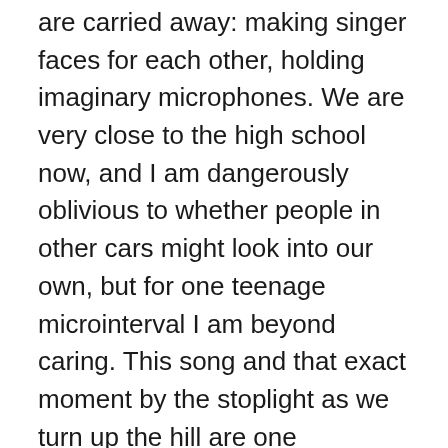are carried away: making singer faces for each other, holding imaginary microphones. We are very close to the high school now, and I am dangerously oblivious to whether people in other cars might look into our own, but for one teenage microinterval I am beyond caring. This song and that exact moment by the stoplight as we turn up the hill are one complete, hermetically protected, joyful, snow-globe of a life moment. And the swirling, cherry-blossom feeling inside that moment is what I tried to bring to my ballerina.
There is so much to love in the naked charm of the song: the Travolta-smooth voice; the warm, thumping heartbeat of its bass line; the cricketing castanets; the cheerful click of wood sticks; the discoing gold platter of high-hat; the background Pips boogie of electric clavichord. There is the lovers' climb of the verse turnaround that suddenly opens